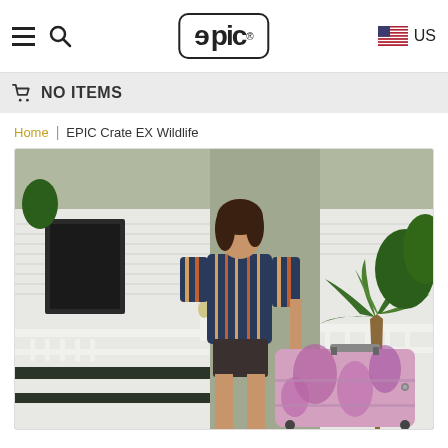EPIC logo navigation bar with hamburger menu, search icon, EPIC logo, US flag and US label
NO ITEMS
Home | EPIC Crate EX Wildlife
[Figure (photo): Woman in striped blouse standing on porch steps of a white house, holding handle of a purple/pink floral hardside luggage suitcase, with palm trees in background]